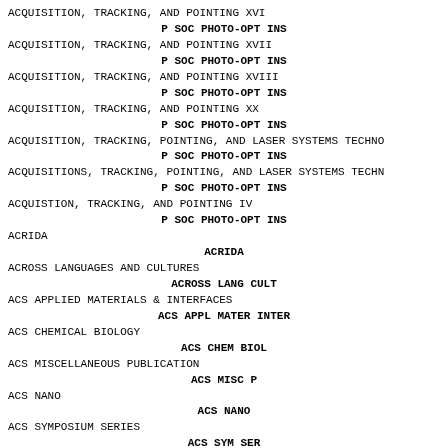ACQUISITION, TRACKING, AND POINTING XVI
    P SOC PHOTO-OPT INS
ACQUISITION, TRACKING, AND POINTING XVII
    P SOC PHOTO-OPT INS
ACQUISITION, TRACKING, AND POINTING XVIII
    P SOC PHOTO-OPT INS
ACQUISITION, TRACKING, AND POINTING XX
    P SOC PHOTO-OPT INS
ACQUISITION, TRACKING, POINTING, AND LASER SYSTEMS TECHNO...
    P SOC PHOTO-OPT INS
ACQUISITIONS, TRACKING, POINTING, AND LASER SYSTEMS TECHN...
    P SOC PHOTO-OPT INS
ACQUISTION, TRACKING, AND POINTING IV
    P SOC PHOTO-OPT INS
ACRIDA
    ACRIDA
ACROSS LANGUAGES AND CULTURES
    ACROSS LANG CULT
ACS APPLIED MATERIALS & INTERFACES
    ACS APPL MATER INTER
ACS CHEMICAL BIOLOGY
    ACS CHEM BIOL
ACS MISCELLANEOUS PUBLICATION
    ACS MISC P
ACS NANO
    ACS NANO
ACS SYMPOSIUM SERIES
    ACS SYM SER
ACSMS HEALTH & FITNESS JOURNAL
    ACSMS HEALTH FIT J
ACT GEODAET GEOPH...